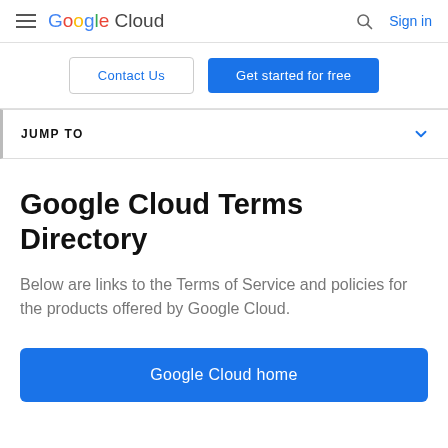Google Cloud — Sign in
Contact Us | Get started for free
JUMP TO
Google Cloud Terms Directory
Below are links to the Terms of Service and policies for the products offered by Google Cloud.
Google Cloud home